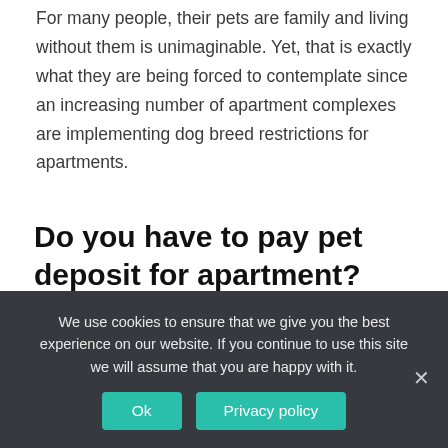For many people, their pets are family and living without them is unimaginable. Yet, that is exactly what they are being forced to contemplate since an increasing number of apartment complexes are implementing dog breed restrictions for apartments.
Do you have to pay pet deposit for apartment?
Even if their rules and regulations state that they accept all
We use cookies to ensure that we give you the best experience on our website. If you continue to use this site we will assume that you are happy with it.